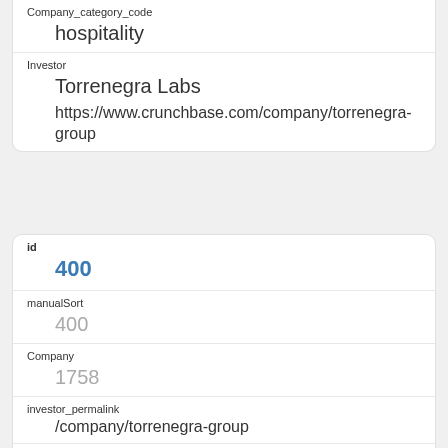Company_category_code
hospitality
Investor
Torrenegra Labs
https://www.crunchbase.com/company/torrenegra-group
id
400
manualSort
400
Company
1758
investor_permalink
/company/torrenegra-group
investor_name
Torrenegra Labs
investor_category_code
investor_country_code